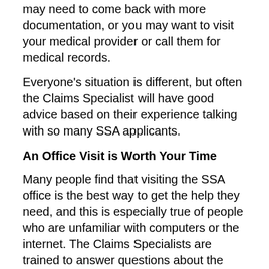may need to come back with more documentation, or you may want to visit your medical provider or call them for medical records.
Everyone's situation is different, but often the Claims Specialist will have good advice based on their experience talking with so many SSA applicants.
An Office Visit is Worth Your Time
Many people find that visiting the SSA office is the best way to get the help they need, and this is especially true of people who are unfamiliar with computers or the internet. The Claims Specialists are trained to answer questions about the process, and are there to help you with the most common reasons people visit the office: Social Security Disability applications, retirement benefits, and Social Security cards.
It's worth the time to go to the field office, but be sure to make an appointment, come prepared, ask questions, and find out what your next move is.